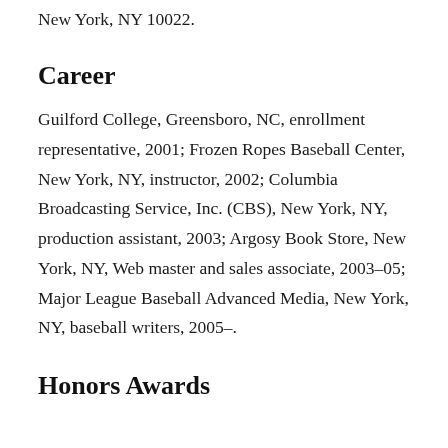New York, NY 10022.
Career
Guilford College, Greensboro, NC, enrollment representative, 2001; Frozen Ropes Baseball Center, New York, NY, instructor, 2002; Columbia Broadcasting Service, Inc. (CBS), New York, NY, production assistant, 2003; Argosy Book Store, New York, NY, Web master and sales associate, 2003–05; Major League Baseball Advanced Media, New York, NY, baseball writers, 2005–.
Honors Awards